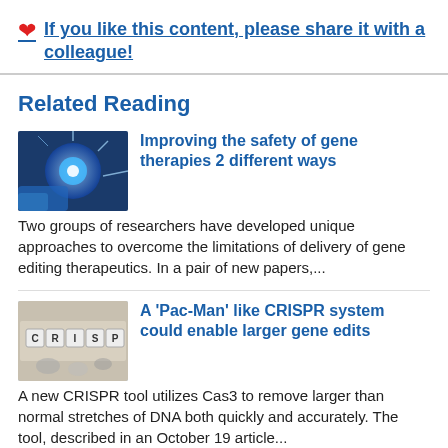❤ If you like this content, please share it with a colleague!
Related Reading
[Figure (photo): Scientist with glowing gene/DNA effect in blue tones]
Improving the safety of gene therapies 2 different ways
Two groups of researchers have developed unique approaches to overcome the limitations of delivery of gene editing therapeutics. In a pair of new papers,...
[Figure (photo): CRISPR letter tiles on metallic background]
A 'Pac-Man' like CRISPR system could enable larger gene edits
A new CRISPR tool utilizes Cas3 to remove larger than normal stretches of DNA both quickly and accurately. The tool, described in an October 19 article...
[Figure (photo): Blue toned science/CRISPR image]
Making CRISPR safer with new enzyme-